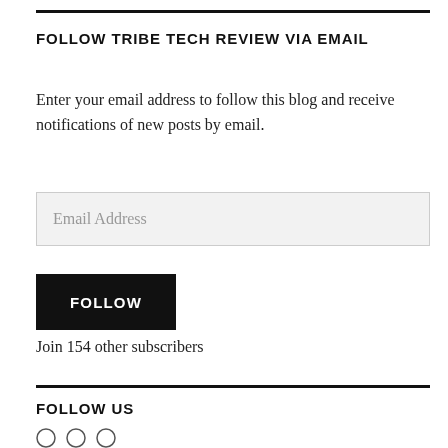FOLLOW TRIBE TECH REVIEW VIA EMAIL
Enter your email address to follow this blog and receive notifications of new posts by email.
Email Address
FOLLOW
Join 154 other subscribers
FOLLOW US